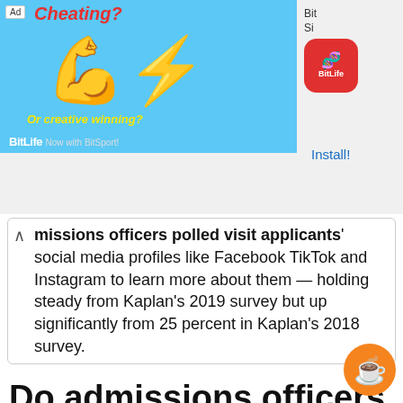[Figure (screenshot): Advertisement banner for BitLife app showing a flexing arm emoji, 'Cheating? Or creative winning?' text on blue background with BitLife logo and Install button on the right.]
missions officers polled visit applicants' social media profiles like Facebook TikTok and Instagram to learn more about them — holding steady from Kaplan's 2019 survey but up significantly from 25 percent in Kaplan's 2018 survey.
Do admissions officers look at fafsa?
When evaluating your application admissions officers do not consider or